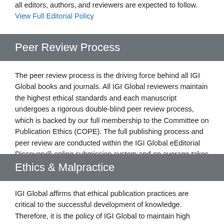all editors, authors, and reviewers are expected to follow. View Full Editorial Policy
Peer Review Process
The peer review process is the driving force behind all IGI Global books and journals. All IGI Global reviewers maintain the highest ethical standards and each manuscript undergoes a rigorous double-blind peer review process, which is backed by our full membership to the Committee on Publication Ethics (COPE). The full publishing process and peer review are conducted within the IGI Global eEditorial Discovery® online submission system and on average takes 30 days. Learn More
Ethics & Malpractice
IGI Global affirms that ethical publication practices are critical to the successful development of knowledge. Therefore, it is the policy of IGI Global to maintain high ethical standards in all publications. These standards pertain to all books, journals, chapters, and articles accepted for publication. This is in accordance with standard scientific principles